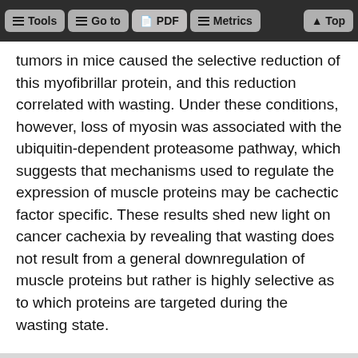Tools  Go to  PDF  Metrics  Top
tumors in mice caused the selective reduction of this myofibrillar protein, and this reduction correlated with wasting. Under these conditions, however, loss of myosin was associated with the ubiquitin-dependent proteasome pathway, which suggests that mechanisms used to regulate the expression of muscle proteins may be cachectic factor specific. These results shed new light on cancer cachexia by revealing that wasting does not result from a general downregulation of muscle proteins but rather is highly selective as to which proteins are targeted during the wasting state.
Introduction
Cachexia is a wasting condition that manifests itself